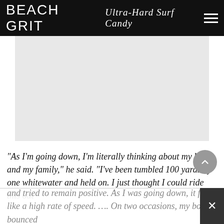BEACH GRIT Ultra-Hard Surf Candy
[Figure (photo): Light gray placeholder image area representing a photo]
“As I’m going down, I’m literally thinking about my kids and my family,” he said. “I’ve been tumbled 100 yards by one whitewater and held on. I just thought I could ride this out
and tried to remain positive. As I was going down, it felt like a high rate of speed. …. On two occasions, my body bounced